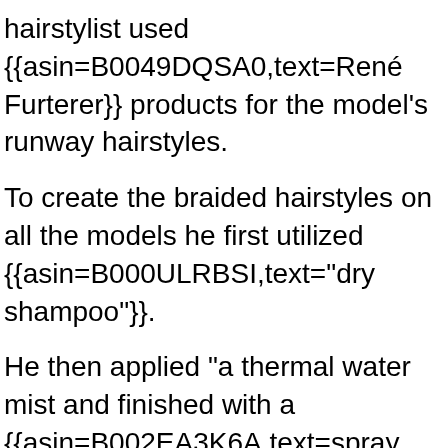hairstylist used {{asin=B0049DQSA0,text=René Furterer}} products for the model's runway hairstyles.
To create the braided hairstyles on all the models he first utilized {{asin=B000ULRBSI,text="dry shampoo"}}.
He then applied "a thermal water mist and finished with a {{asin=B002EA3K6A,text=spray volumizer."}} The model's tresses were stunning, to say the least.
Make-up By Lead Artist Maki Ryoke
Make-up beautiful bride...